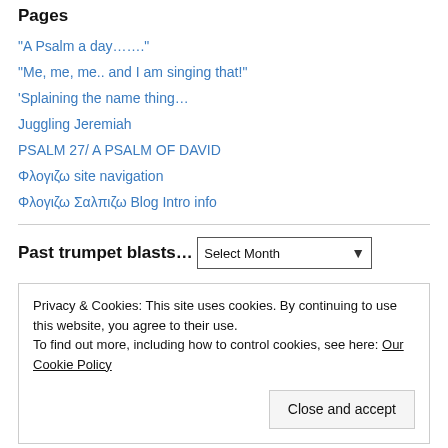Pages
“A Psalm a day…….”
“Me, me, me.. and I am singing that!”
‘Splaining the name thing…
Juggling Jeremiah
PSALM 27/ A PSALM OF DAVID
Φλογιζω site navigation
Φλογιζω Σαλπιζω Blog Intro info
Past trumpet blasts…
Select Month
Privacy & Cookies: This site uses cookies. By continuing to use this website, you agree to their use.
To find out more, including how to control cookies, see here: Our Cookie Policy
Close and accept
Making it through the night……